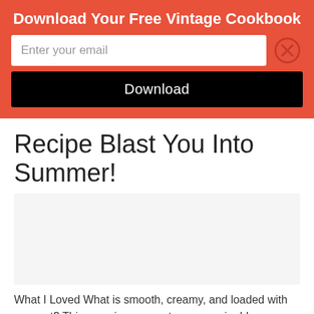Download Your Free Vintage Cookbook
Enter your email
Download
Recipe Blast You Into Summer!
[Figure (photo): Image placeholder area (white/blank)]
What I Loved What is smooth, creamy, and loaded with coconut? This amazing coconut cream recipe! I was very skeptical of this recipe because me and gelatin based